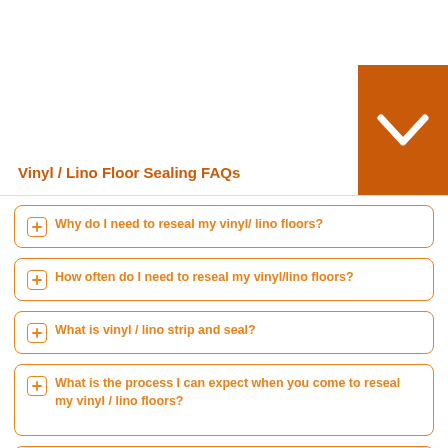Vinyl / Lino Floor Sealing FAQs
Why do I need to reseal my vinyl/ lino floors?
How often do I need to reseal my vinyl/lino floors?
What is vinyl / lino strip and seal?
What is the process I can expect when you come to reseal my vinyl / lino floors?
How long does it take to reseal my vinyl / lino floors?